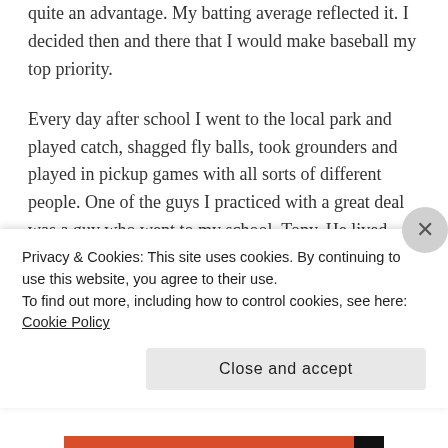quite an advantage. My batting average reflected it. I decided then and there that I would make baseball my top priority.
Every day after school I went to the local park and played catch, shagged fly balls, took grounders and played in pickup games with all sorts of different people. One of the guys I practiced with a great deal was a guy who went to my school. Tony. He lived near a PONY League park that had lights! That was so absolutely great for us because we could stay there in the dark (after functioning the winter) and still on the
Privacy & Cookies: This site uses cookies. By continuing to use this website, you agree to their use.
To find out more, including how to control cookies, see here: Cookie Policy